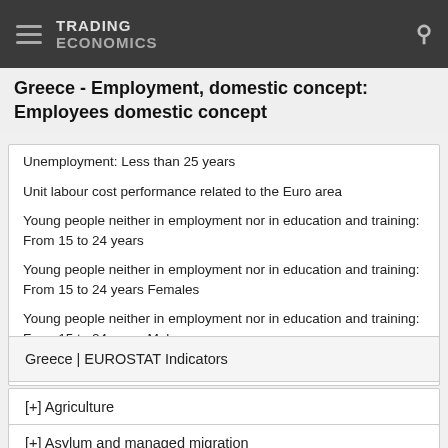TRADING ECONOMICS
Greece - Employment, domestic concept: Employees domestic concept
Unemployment: Less than 25 years
Unit labour cost performance related to the Euro area
Young people neither in employment nor in education and training: From 15 to 24 years
Young people neither in employment nor in education and training: From 15 to 24 years Females
Young people neither in employment nor in education and training: From 15 to 24 years Males
Youth unemployment rate (15-24)
Greece | EUROSTAT Indicators
[+] Agriculture
[+] Asylum and managed migration